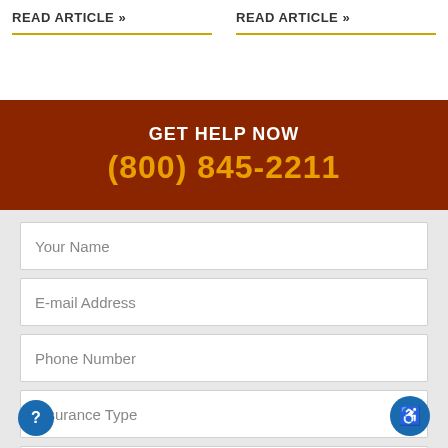READ ARTICLE »
READ ARTICLE »
GET HELP NOW
(800) 845-2211
Your Name
E-mail Address
Phone Number
Insurance Type
Relationship to Patient